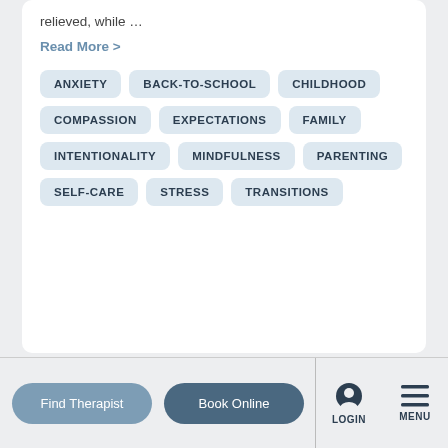relieved, while …
Read More >
ANXIETY
BACK-TO-SCHOOL
CHILDHOOD
COMPASSION
EXPECTATIONS
FAMILY
INTENTIONALITY
MINDFULNESS
PARENTING
SELF-CARE
STRESS
TRANSITIONS
Find Therapist   Book Online   LOGIN   MENU